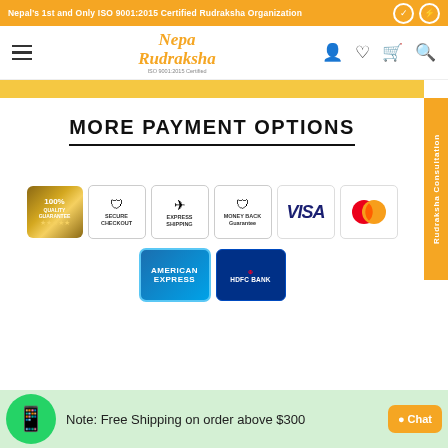Nepal's 1st and Only ISO 9001:2015 Certified Rudraksha Organization
[Figure (screenshot): Nepa Rudraksha logo with ISO 9001:2015 Certified text]
MORE PAYMENT OPTIONS
[Figure (infographic): Six trust badges: 100% Quality Guarantee (gold), Secure Checkout (shield), Express Shipping (airplane), Money Back Guarantee (shield), VISA, Mastercard]
[Figure (infographic): Two payment logos: American Express (blue card), HDFC Bank (dark blue)]
Note: Free Shipping on order above $300